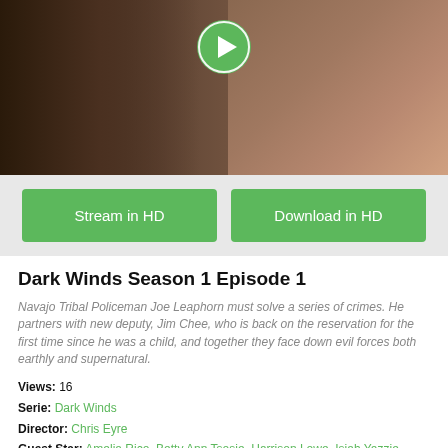[Figure (photo): Hero image of a Navajo man (actor) looking down, wearing a uniform. A green play button circle overlay is centered at the top.]
Stream in HD
Download in HD
Dark Winds Season 1 Episode 1
Navajo Tribal Policeman Joe Leaphorn must solve a series of crimes. He partners with new deputy, Jim Chee, who is back on the reservation for the first time since he was a child, and together they face down evil forces both earthly and supernatural.
Views: 16
Serie: Dark Winds
Director: Chris Eyre
Guest Star: Amelia Rico, Betty Ann Tsosie, Harrison Lowe, Isiah Yazzie, John Paul Comanche, Jonathan Adams, Natalie Benally, Quenton Yazzie, Rob Tepper, Ryan Begay, Ryan de Quintal, Ryan Jason Cook, Sharon Anne Henderson, Shawnee Pourier, Sheypan Draus, Stafford Douglas
Episode Title: Monster Slayer